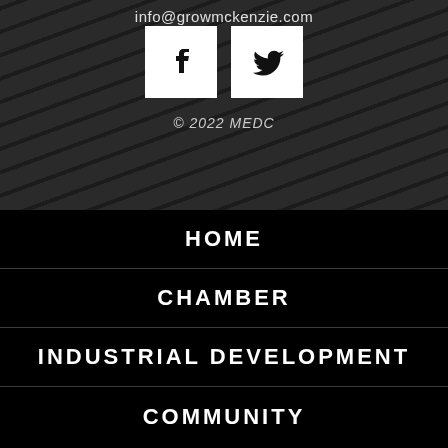info@growmckenzie.com
[Figure (logo): Facebook and Twitter social media icons (white squares with black logos)]
© 2022 MEDC
HOME
CHAMBER
INDUSTRIAL DEVELOPMENT
COMMUNITY